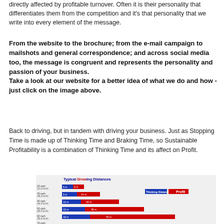directly affected by profitable turnover. Often it is their personality that differentiates them from the competition and it's that personality that we write into every element of the message.
From the website to the brochure; from the e-mail campaign to mailshots and general correspondence; and across social media too, the message is congruent and represents the personality and passion of your business. Take a look at our website for a better idea of what we do and how - just click on the image above.
Back to driving, but in tandem with driving your business. Just as Stopping Time is made up of Thinking Time and Braking Time, so Sustainable Profitability is a combination of Thinking Time and its affect on Profit.
[Figure (bar-chart): Horizontal stacked bar chart showing Thinking Distance (blue) and Profit (red) for various speeds from 20mph to 70mph]